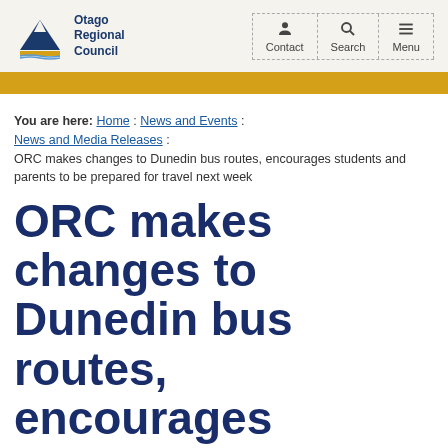Otago Regional Council — Contact, Search, Menu
You are here: Home : News and Events : News and Media Releases : ORC makes changes to Dunedin bus routes, encourages students and parents to be prepared for travel next week
ORC makes changes to Dunedin bus routes, encourages students and parents to be prepared for travel next week